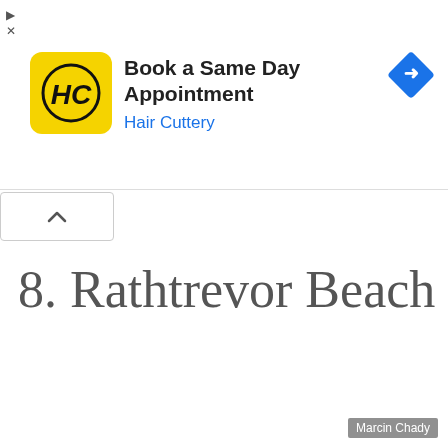[Figure (screenshot): Advertisement banner for Hair Cuttery with yellow HC logo, text 'Book a Same Day Appointment', 'Hair Cuttery', and a blue diamond navigation icon. Small ad controls (triangle and X) on the left.]
[Figure (other): Collapse/chevron up button UI element]
8. Rathtrevor Beach
Marcin Chady